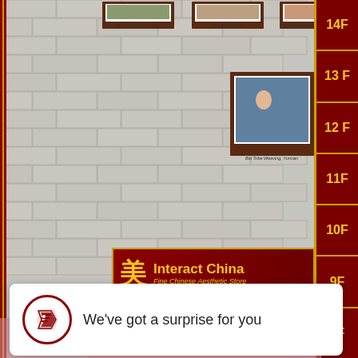[Figure (screenshot): Interact China e-commerce website screenshot showing a gallery of framed Chinese cultural photos on a brick wall background, a storefront banner, floor navigation sidebar, a notification popup saying 'We've got a surprise for you', and a 'A Social Enterprise in E-commerce' tagline.]
Interact China
Fine Chinese Aesthetic Store
A Social Enterprise in E-commerce
We've got a surprise for you